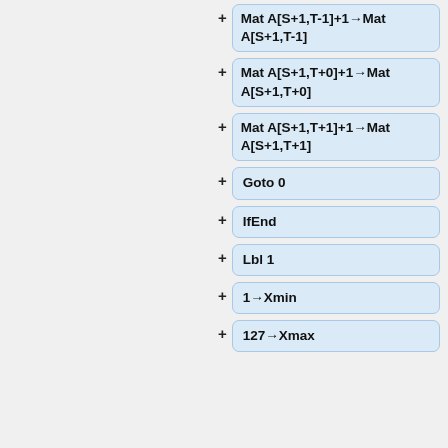Mat A[S+1,T-1]+1→Mat A[S+1,T-1]
Mat A[S+1,T+0]+1→Mat A[S+1,T+0]
Mat A[S+1,T+1]+1→Mat A[S+1,T+1]
Goto 0
IfEnd
Lbl 1
1→Xmin
127→Xmax